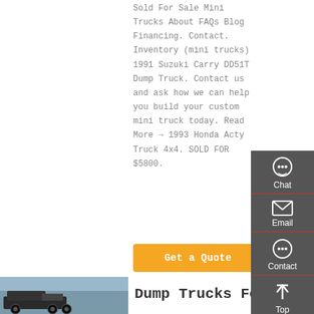Sold For Sale Mini Trucks About FAQs Blog Financing. Contact. Inventory (mini trucks) 1991 Suzuki Carry DD51T Dump Truck. Contact us and ask how we can help you build your custom mini truck today. Read More → 1993 Honda Acty Truck 4x4. SOLD FOR $5800.
[Figure (screenshot): Sidebar widget with Chat, Email, Contact, and Top navigation icons on dark gray background]
Get a Quote
[Figure (photo): Partial thumbnail photo of a mini dump truck against a blue-gray sky background]
Dump Trucks For